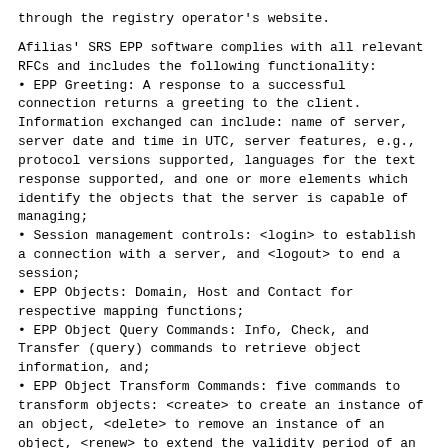through the registry operator's website.
Afilias' SRS EPP software complies with all relevant RFCs and includes the following functionality:
EPP Greeting: A response to a successful connection returns a greeting to the client. Information exchanged can include: name of server, server date and time in UTC, server features, e.g., protocol versions supported, languages for the text response supported, and one or more elements which identify the objects that the server is capable of managing;
Session management controls: <login> to establish a connection with a server, and <logout> to end a session;
EPP Objects: Domain, Host and Contact for respective mapping functions;
EPP Object Query Commands: Info, Check, and Transfer (query) commands to retrieve object information, and;
EPP Object Transform Commands: five commands to transform objects: <create> to create an instance of an object, <delete> to remove an instance of an object, <renew> to extend the validity period of an object, <update> to change information associated with an object, and <transfer> to manage changes in client sponsorship of a known object.
Currently, 100% of the top domain name registrars in the world have software that has already been tested and certified to be compatible with the Afilias SRS registry. In total, over 375 registrars, representing